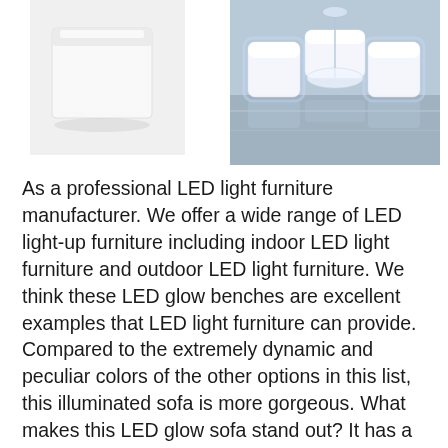[Figure (photo): White LED light cube/box furniture product photo on white background]
[Figure (photo): Glowing white LED light sofa set arrangement with corner pieces and round table, photographed outdoors on a reflective surface]
As a professional LED light furniture manufacturer. We offer a wide range of LED light-up furniture including indoor LED light furniture and outdoor LED light furniture. We think these LED glow benches are excellent examples that LED light furniture can provide. Compared to the extremely dynamic and peculiar colors of the other options in this list, this illuminated sofa is more gorgeous. What makes this LED glow sofa stand out? It has a lot of LEDs inside and out, so his light is very bright. Make up any size and shape you want by combining corner and right-angle